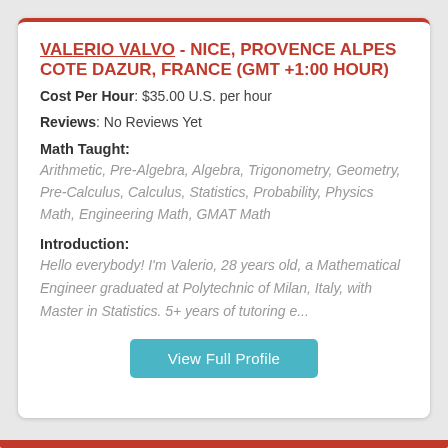VALERIO VALVO - NICE, PROVENCE ALPES COTE DAZUR, FRANCE (GMT +1:00 HOUR)
Cost Per Hour: $35.00 U.S. per hour
Reviews: No Reviews Yet
Math Taught:
Arithmetic, Pre-Algebra, Algebra, Trigonometry, Geometry, Pre-Calculus, Calculus, Statistics, Probability, Physics Math, Engineering Math, GMAT Math
Introduction:
Hello everybody! I'm Valerio, 28 years old, a Mathematical Engineer graduated at Polytechnic of Milan, Italy, with Master in Statistics. 5+ years of tutoring e...
View Full Profile